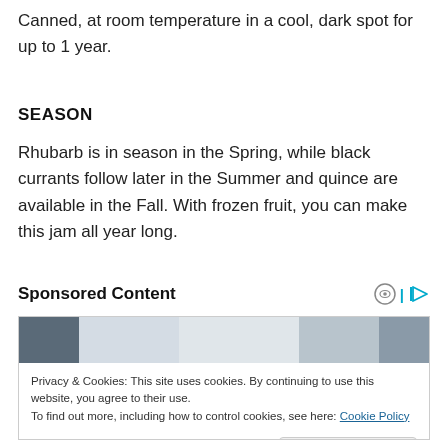Canned, at room temperature in a cool, dark spot for up to 1 year.
SEASON
Rhubarb is in season in the Spring, while black currants follow later in the Summer and quince are available in the Fall. With frozen fruit, you can make this jam all year long.
Sponsored Content
[Figure (screenshot): A sponsored content advertisement box showing a blurred office/room image at top, followed by a cookie consent bar with text about privacy and cookies, a link to Cookie Policy, and a Close and accept button.]